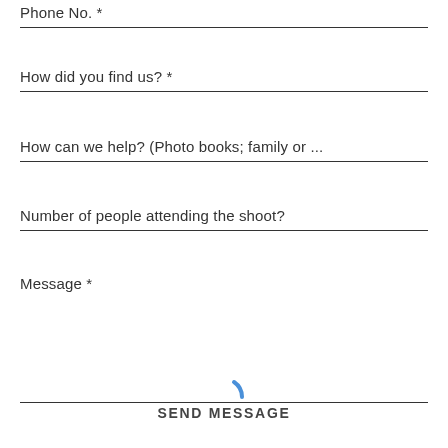Phone No. *
How did you find us? *
How can we help? (Photo books; family or ...
Number of people attending the shoot?
Message *
[Figure (other): Loading spinner arc in blue]
SEND MESSAGE